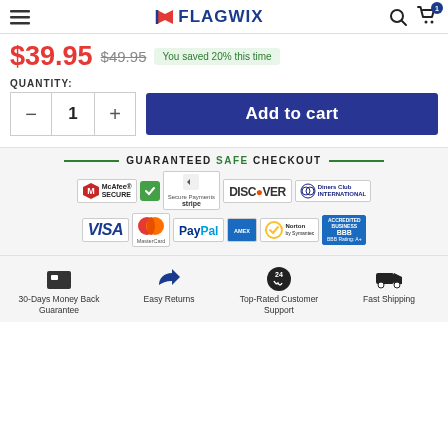FLAGWIX
$39.95  $49.95  You saved 20% this time
QUANTITY: 1  Add to cart
GUARANTEED SAFE CHECKOUT
[Figure (infographic): Payment security badges: McAfee Secure, green checkmark, Secure Payments by Stripe, Discover, Diners Club International, VISA, MasterCard, PayPal, American Express, Norton by Symantec, BBB Accredited Business A+]
[Figure (infographic): Trust icons: 30-Days Money Back Guarantee (wallet icon), Easy Returns (hand with box icon), Top-Rated Customer Support (24h phone icon), Fast Shipping (truck icon)]